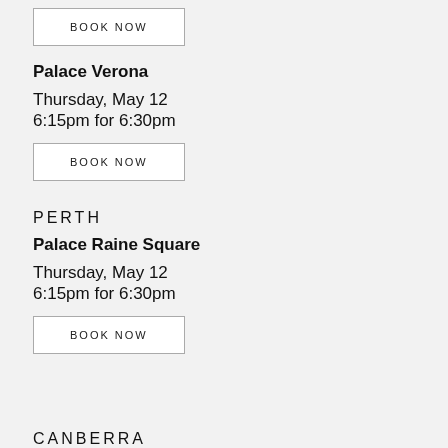BOOK NOW
Palace Verona
Thursday, May 12
6:15pm for 6:30pm
BOOK NOW
PERTH
Palace Raine Square
Thursday, May 12
6:15pm for 6:30pm
BOOK NOW
CANBERRA